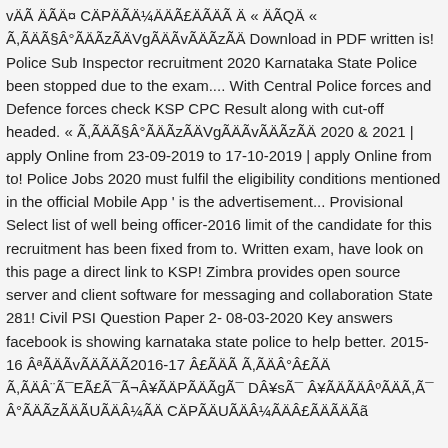vÄÃ ÄÃÄ¤ CÄPÄÃÄ¼ÄÄÃ£ÄÃÄÃ Ä « ÄÃQÄ «
Ã,ÃÄÃ§Â°ÃÄÃzÃÄVgÃÄÃvÃÄÃzÃÄ Download in PDF written is! Police Sub Inspector recruitment 2020 Karnataka State Police been stopped due to the exam.... With Central Police forces and Defence forces check KSP CPC Result along with cut-off headed. « Ã,ÃÄÃ§Â°ÃÄÃzÃÄVgÃÄÃvÃÄÃzÃÄ 2020 & 2021 | apply Online from 23-09-2019 to 17-10-2019 | apply Online from to! Police Jobs 2020 must fulfil the eligibility conditions mentioned in the official Mobile App ' is the advertisement... Provisional Select list of well being officer-2016 limit of the candidate for this recruitment has been fixed from to. Written exam, have look on this page a direct link to KSP! Zimbra provides open source server and client software for messaging and collaboration State 281! Civil PSI Question Paper 2- 08-03-2020 Key answers facebook is showing karnataka state police to help better. 2015-16 ÂªÃÄÃvÃÄÃÄÃ2016-17 Â£ÃÄÃ Ã,ÃÄÂ°Â£ÃÄ Ã,ÃÄÂ¨Ã¯EÃ£Ã¯Ã¬Â¥ÃÄPÃÄÃgÃ¯ DÂ¥sÃ¯ Â¥ÃÄÃÄÂºÃÄÃ,Ã¯ Â°ÃÄÃzÃÄÃUÃÄÂ¼ÃÄ CÄPÃÄUÃÄÂ¼ÃÄÂ£ÃÄÃÄÃã